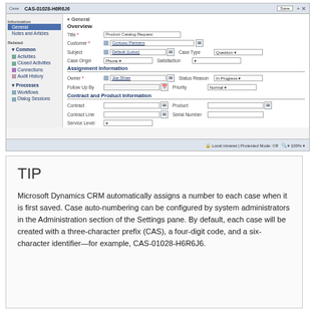[Figure (screenshot): Microsoft Dynamics CRM screenshot showing a Case form with case number CAS-01028-H6R6J6. The form includes General section with fields: Title (Product Catalog Request), Customer (Contoso Partners), Subject (Default (Lotus)), Case Type (Question), Case Origin (Phone), Satisfaction; Assignment Information section with Owner (Joe Shaw), Status Reason (In Progress), Follow Up By, Priority (Normal); Contract and Product Information section with Contract, Product, Contract Line, Serial Number, Service Level; Notes and Articles section. Left navigation panel shows Information (General, Notes and Articles), Related (Common: Activities, Closed Activities, Connections, Audit History; Processes: Workflows, Dialog Sessions).]
TIP
Microsoft Dynamics CRM automatically assigns a number to each case when it is first saved. Case auto-numbering can be configured by system administrators in the Administration section of the Settings pane. By default, each case will be created with a three-character prefix (CAS), a four-digit code, and a six-character identifier—for example, CAS-01028-H6R6J6.